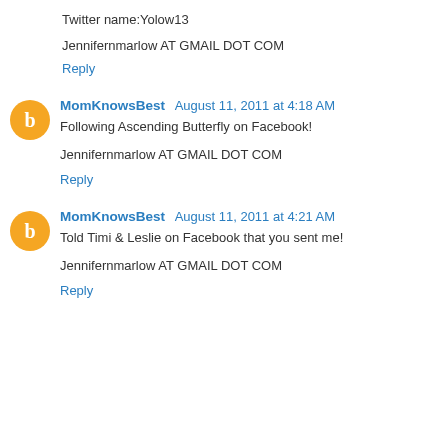Twitter name:Yolow13
Jennifernmarlow AT GMAIL DOT COM
Reply
MomKnowsBest August 11, 2011 at 4:18 AM
Following Ascending Butterfly on Facebook!
Jennifernmarlow AT GMAIL DOT COM
Reply
MomKnowsBest August 11, 2011 at 4:21 AM
Told Timi & Leslie on Facebook that you sent me!
Jennifernmarlow AT GMAIL DOT COM
Reply